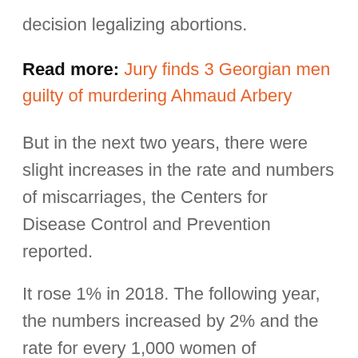decision legalizing abortions.
Read more: Jury finds 3 Georgian men guilty of murdering Ahmaud Arbery
But in the next two years, there were slight increases in the rate and numbers of miscarriages, the Centers for Disease Control and Prevention reported.
It rose 1% in 2018. The following year, the numbers increased by 2% and the rate for every 1,000 women of childbearing age increased by 1%.
The CDC report represents the most recent data available on abortions in the United States. But experts say it should be interpreted with caution because it is based on voluntary reporting and is not